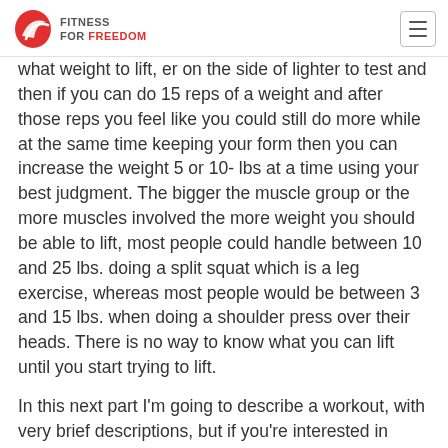FITNESS FOR FREEDOM
what weight to lift, er on the side of lighter to test and then if you can do 15 reps of a weight and after those reps you feel like you could still do more while at the same time keeping your form then you can increase the weight 5 or 10- lbs at a time using your best judgment. The bigger the muscle group or the more muscles involved the more weight you should be able to lift, most people could handle between 10 and 25 lbs. doing a split squat which is a leg exercise, whereas most people would be between 3 and 15 lbs. when doing a shoulder press over their heads. There is no way to know what you can lift until you start trying to lift.
In this next part I'm going to describe a workout, with very brief descriptions, but if you're interested in